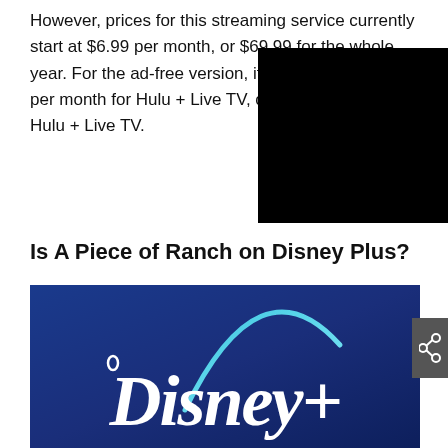However, prices for this streaming service currently start at $6.99 per month, or $69.99 for the whole year. For the ad-free version, it's $12 per month for Hulu + Live TV, o Hulu + Live TV.
[Figure (other): Black redacted/censored rectangle overlapping article text]
Is A Piece of Ranch on Disney Plus?
[Figure (logo): Disney+ logo on dark blue gradient background with large white Disney+ wordmark and curved light blue arc above]